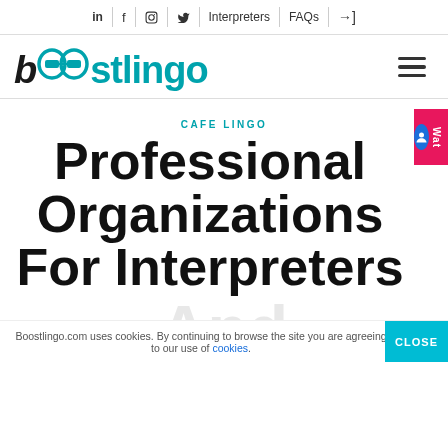in | f | (instagram) | (twitter) | Interpreters | FAQs | →]
[Figure (logo): Boostlingo logo in teal/dark color with stylized double-o]
CAFE LINGO
Professional Organizations For Interpreters And
Boostlingo.com uses cookies. By continuing to browse the site you are agreeing to our use of cookies.